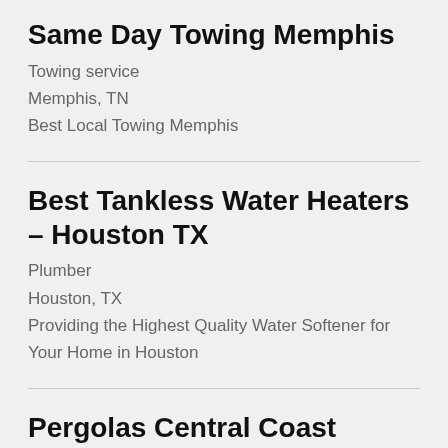Same Day Towing Memphis
Towing service
Memphis, TN
Best Local Towing Memphis
Best Tankless Water Heaters – Houston TX
Plumber
Houston, TX
Providing the Highest Quality Water Softener for Your Home in Houston
Pergolas Central Coast